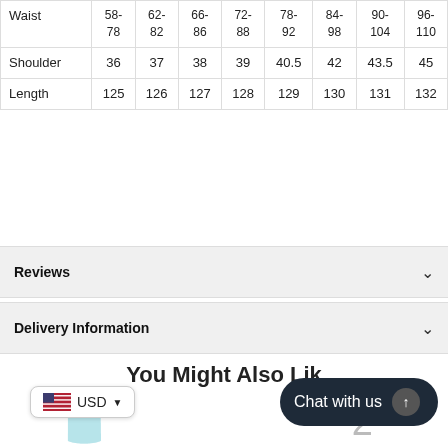|  | 58-78 | 62-82 | 66-86 | 72-88 | 78-92 | 84-98 | 90-104 | 96-110 |
| --- | --- | --- | --- | --- | --- | --- | --- | --- |
| Waist | 58-78 | 62-82 | 66-86 | 72-88 | 78-92 | 84-98 | 90-104 | 96-110 |
| Shoulder | 36 | 37 | 38 | 39 | 40.5 | 42 | 43.5 | 45 |
| Length | 125 | 126 | 127 | 128 | 129 | 130 | 131 | 132 |
Reviews
Delivery Information
You Might Also Like